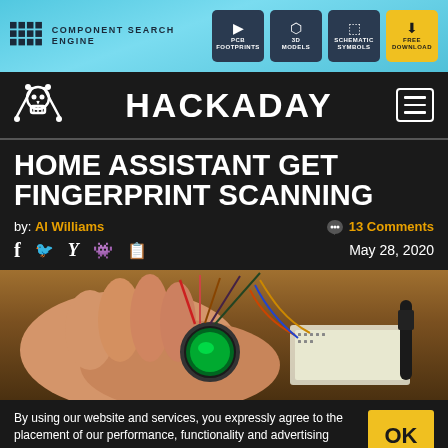COMPONENT SEARCH ENGINE | PCB FOOTPRINTS | 3D MODELS | SCHEMATIC SYMBOLS | FREE DOWNLOAD
HACKADAY
HOME ASSISTANT GET FINGERPRINT SCANNING
by: Al Williams
13 Comments
May 28, 2020
[Figure (photo): Hands holding a fingerprint scanner module glowing green, with wires and breadboard components visible]
By using our website and services, you expressly agree to the placement of our performance, functionality and advertising cookies. Learn more